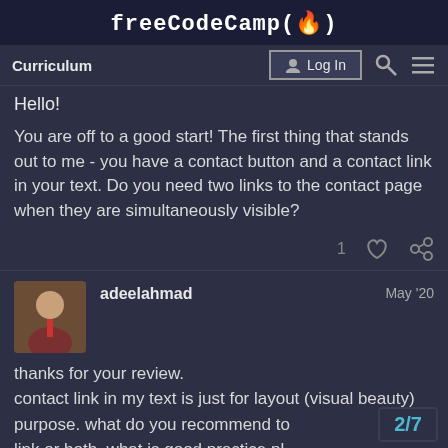freeCodeCamp(🔥)
Curriculum | Log In
Hello!
You are off to a good start! The first thing that stands out to me - you have a contact button and a contact link in your text. Do you need two links to the contact page when they are simultaneously visible?
adeelahmad  May '20
thanks for your review.
contact link in my text is just for layout (visual beauty) purpose. what do you recommend to link or both. what is good practice pl
2/7